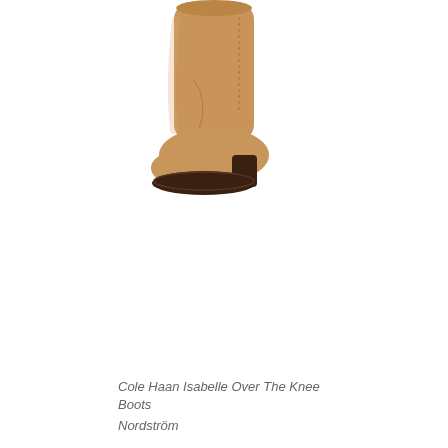[Figure (photo): A tan/caramel suede over-the-knee boot (Cole Haan Isabelle) shown from the lower portion, displaying the boot's shaft, toe, and dark brown sole against a white background.]
Cole Haan Isabelle Over The Knee Boots
Nordström